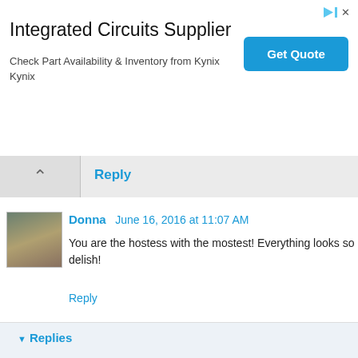[Figure (screenshot): Advertisement banner for Integrated Circuits Supplier by Kynix with Get Quote button]
Integrated Circuits Supplier
Check Part Availability & Inventory from Kynix Kynix
Reply
Donna  June 16, 2016 at 11:07 AM
You are the hostess with the mostest! Everything looks so delish!
Reply
Replies
Debbie - Mountain Mama  June 16, 2016 at 12:48 PM
It was a great night, Donna. Wore me out....but a great night!